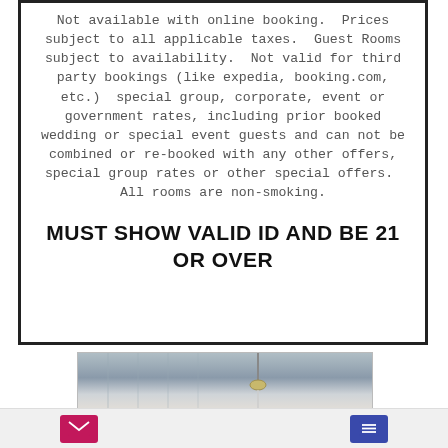Not available with online booking.  Prices subject to all applicable taxes.  Guest Rooms subject to availability.  Not valid for third party bookings (like expedia, booking.com, etc.)  special group, corporate, event or government rates, including prior booked wedding or special event guests and can not be combined or re-booked with any other offers, special group rates or other special offers.  All rooms are non-smoking.
MUST SHOW VALID ID AND BE 21 OR OVER
[Figure (photo): Partial photo of a hotel room interior showing ceiling and a hanging lamp fixture]